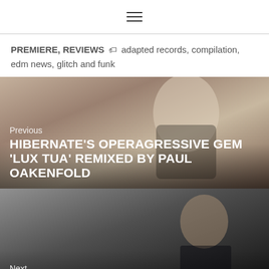≡ (hamburger menu icon)
PREMIERE, REVIEWS 🏷 adapted records, compilation, edm news, glitch and funk
[Figure (photo): Previous article image: fashion model in beige outfit with black belt against stone wall background. Overlaid text: 'Previous' and title 'HIBERNATE'S OPERAGRESSIVE GEM 'LUX TUA' REMIXED BY PAUL OAKENFOLD']
[Figure (photo): Next article image: person in dark outfit against dark background. Overlaid text: 'Next' and title 'WHAT DJ JOUNCE AND CHRISTINA NOVELLI FEEL YOU SHOULD KNOW']